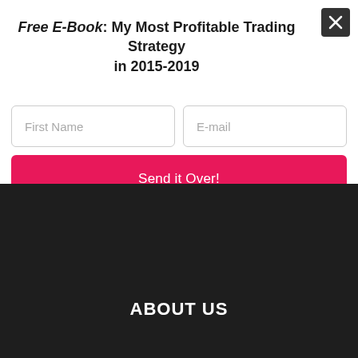Free E-Book: My Most Profitable Trading Strategy in 2015-2019
First Name
E-mail
Send it Over!
ABOUT US